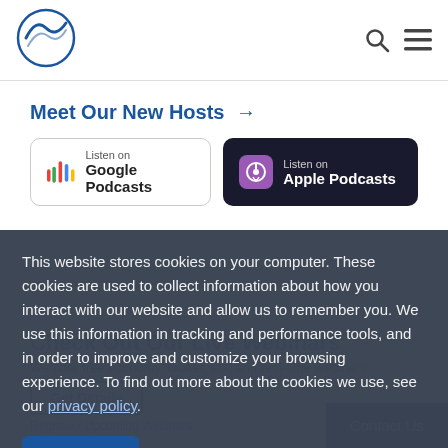Website header with logo and navigation icons
Meet Our New Hosts →
[Figure (logo): Listen on Google Podcasts badge]
[Figure (logo): Listen on Apple Podcasts badge]
This website stores cookies on your computer. These cookies are used to collect information about how you interact with our website and allow us to remember you. We use this information in tracking and performance tools, and in order to improve and customize your browsing experience. To find out more about the cookies we use, see our privacy policy.
Accept
Check Out Our Live Webinars
We offer free economy, broker, tax, and real-time webinars
Get Details
Contact Us